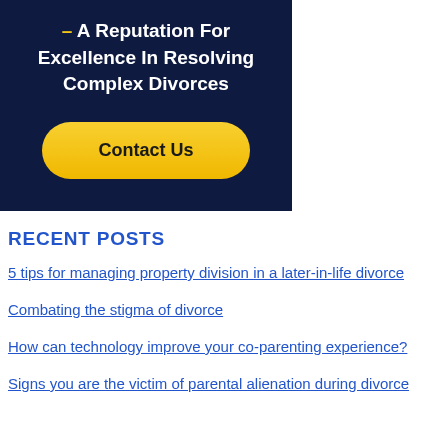[Figure (other): Dark navy blue promotional box with text '– A Reputation For Excellence In Resolving Complex Divorces' and a yellow 'Contact Us' button]
RECENT POSTS
5 tips for managing property division in a later-in-life divorce
Combating the stigma of divorce
How can technology improve your co-parenting experience?
Signs you are the victim of parental alienation during divorce